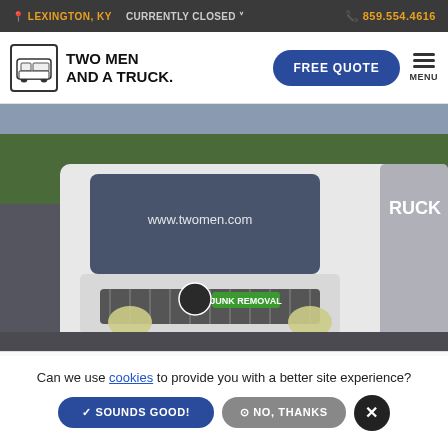LEXINGTON, KY   CURRENTLY CLOSED   859.554.4616
[Figure (logo): Two Men and a Truck logo with truck icon]
FREE QUOTE
MENU
[Figure (photo): Front view of a white Isuzu truck with 'JUNK REMOVAL' green label and www.twomen.com on the windshield]
Can we use cookies to provide you with a better site experience?
SOUNDS GOOD!
NO, THANKS